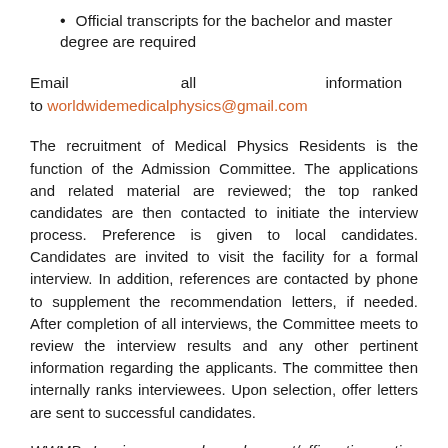Official transcripts for the bachelor and master degree are required
Email all information to worldwidemedicalphysics@gmail.com
The recruitment of Medical Physics Residents is the function of the Admission Committee. The applications and related material are reviewed; the top ranked candidates are then contacted to initiate the interview process. Preference is given to local candidates. Candidates are invited to visit the facility for a formal interview. In addition, references are contacted by phone to supplement the recommendation letters, if needed. After completion of all interviews, the Committee meets to review the interview results and any other pertinent information regarding the applicants. The committee then internally ranks interviewees. Upon selection, offer letters are sent to successful candidates.
WWMP, Inc is an equal employment/affirmative action employer and does not discriminate on the basis of race,